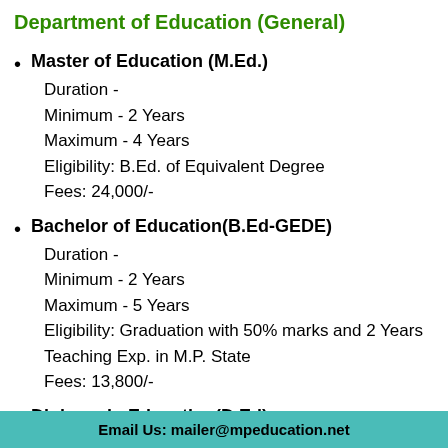Department of Education (General)
Master of Education (M.Ed.)
Duration -
Minimum - 2 Years
Maximum - 4 Years
Eligibility: B.Ed. of Equivalent Degree
Fees: 24,000/-
Bachelor of Education(B.Ed-GEDE)
Duration -
Minimum - 2 Years
Maximum - 5 Years
Eligibility: Graduation with 50% marks and 2 Years Teaching Exp. in M.P. State
Fees: 13,800/-
Diploma in Education(D.Ed)
Duration -2 Years
Maximum - 4 Years
Eligibility: 10+2 with 50% marks and 2 years Teaching
Email Us: mailer@mpeducation.net